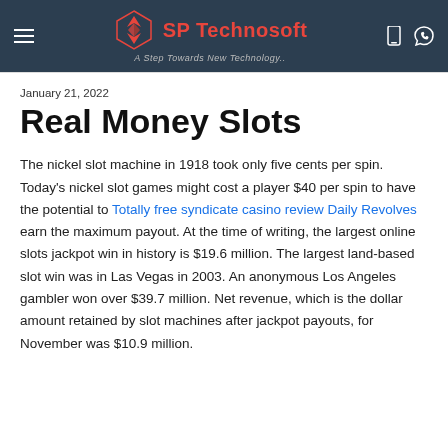SP Technosoft — A Step Towards New Technology.
January 21, 2022
Real Money Slots
The nickel slot machine in 1918 took only five cents per spin. Today's nickel slot games might cost a player $40 per spin to have the potential to Totally free syndicate casino review Daily Revolves earn the maximum payout. At the time of writing, the largest online slots jackpot win in history is $19.6 million. The largest land-based slot win was in Las Vegas in 2003. An anonymous Los Angeles gambler won over $39.7 million. Net revenue, which is the dollar amount retained by slot machines after jackpot payouts, for November was $10.9 million.